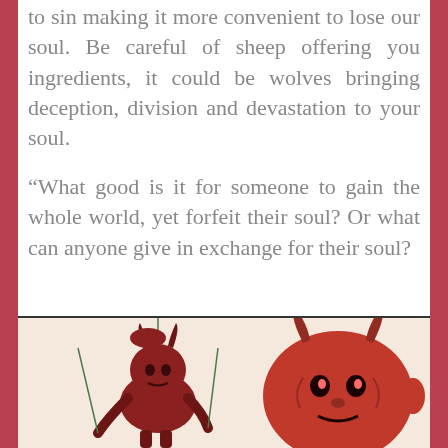to sin making it more convenient to lose our soul. Be careful of sheep offering you ingredients, it could be wolves bringing deception, division and devastation to your soul.
“What good is it for someone to gain the whole world, yet forfeit their soul? Or what can anyone give in exchange for their soul?
[Figure (illustration): Illustration of two devil/demon figures in red, one appears to be a puppet with strings and the other a red devil head with horns]